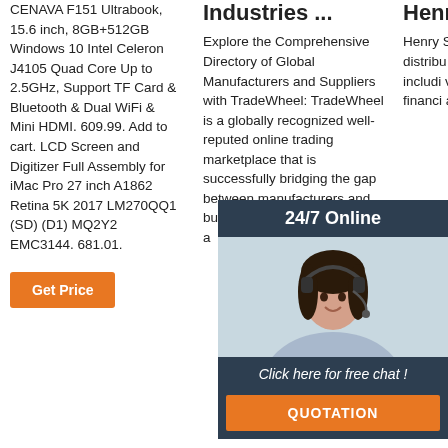CENAVA F151 Ultrabook, 15.6 inch, 8GB+512GB Windows 10 Intel Celeron J4105 Quad Core Up to 2.5GHz, Support TF Card & Bluetooth & Dual WiFi & Mini HDMI. 609.99. Add to cart. LCD Screen and Digitizer Full Assembly for iMac Pro 27 inch A1862 Retina 5K 2017 LM270QQ1 (SD) (D1) MQ2Y2 EMC3144. 681.01.
[Figure (other): Orange 'Get Price' button]
Industries ...
Explore the Comprehensive Directory of Global Manufacturers and Suppliers with TradeWheel: TradeWheel is a globally recognized well-reputed online trading marketplace that is successfully bridging the gap between manufacturers and buyers by furnishing them with a
Henry Schein
Henry Schein is a worldwide distribu medical dental includi vaccin pharma financi and eq
[Figure (infographic): 24/7 Online chat widget with dark blue background, photo of woman with headset, 'Click here for free chat!' text in italic, and orange QUOTATION button]
[Figure (other): Partial orange 'Get' button on left side of chat widget]
[Figure (other): Orange TOP button with dots above, at bottom right]